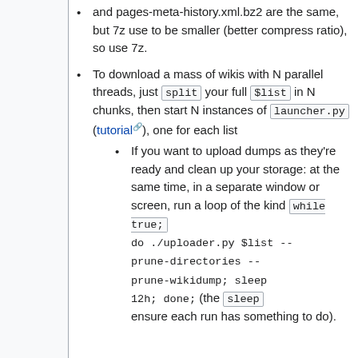and pages-meta-history.xml.bz2 are the same, but 7z use to be smaller (better compress ratio), so use 7z.
To download a mass of wikis with N parallel threads, just split your full $list in N chunks, then start N instances of launcher.py (tutorial), one for each list
If you want to upload dumps as they're ready and clean up your storage: at the same time, in a separate window or screen, run a loop of the kind while true; do ./uploader.py $list --prune-directories --prune-wikidump; sleep 12h; done; (the sleep ensure each run has something to do).